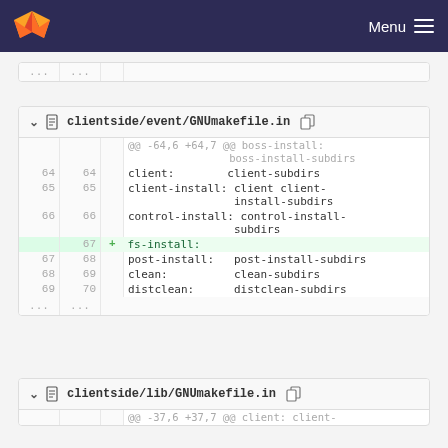GitLab Menu
[Figure (screenshot): Partial diff block showing ellipsis rows]
clientside/event/GNUmakefile.in
@@ -64,6 +64,7 @@ boss-install: boss-install-subdirs
64 64   client:        client-subdirs
65 65   client-install: client client-install-subdirs
66 66   control-install: control-install-subdirs
   67 + fs-install:
67 68   post-install:   post-install-subdirs
68 69   clean:          clean-subdirs
69 70   distclean:      distclean-subdirs
clientside/lib/GNUmakefile.in
@@ -37,6 +37,7 @@ client: client-